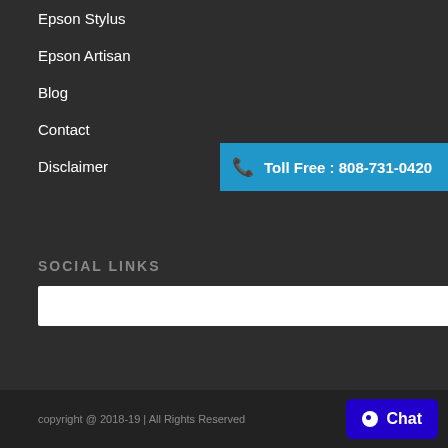Epson Stylus
Epson Artisan
Blog
Contact
Disclaimer
Toll Free : 808-731-0420
SOCIAL LINKS
copyright @ 2018-19  |  All Rights Reserved